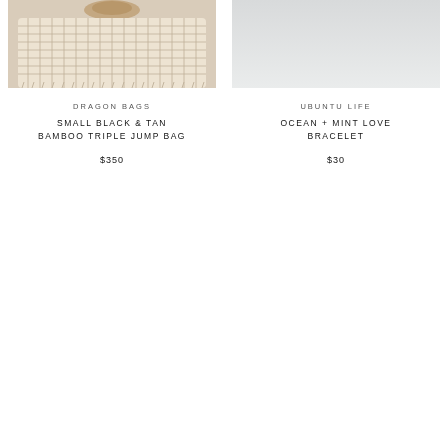[Figure (photo): Close-up photo of a woven cream/tan bamboo bag with macrame texture and rattan handle at top]
DRAGON BAGS
SMALL BLACK & TAN BAMBOO TRIPLE JUMP BAG
$350
[Figure (photo): Light whitish-grey background product photo for Ubuntu Life bracelet]
UBUNTU LIFE
OCEAN + MINT LOVE BRACELET
$30